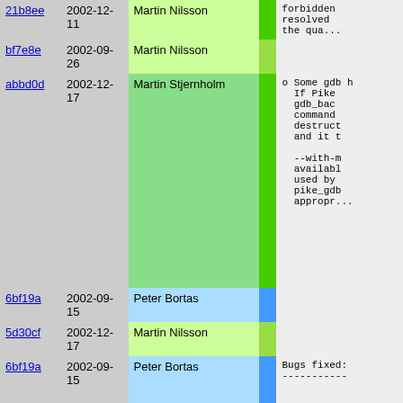| hash | date | author | bar | description |
| --- | --- | --- | --- | --- |
| 21b8ee | 2002-12-11 | Martin Nilsson |  | forbidden
resolved
the qua... |
| bf7e8e | 2002-09-26 | Martin Nilsson |  |  |
| abbd0d | 2002-12-17 | Martin Stjernholm |  | o Some gdb h
  If Pike
  gdb_bac
  command
  destruct
  and it t

  --with-m
  availabl
  used by
  pike_gdb
  appropr... |
| 6bf19a | 2002-09-15 | Peter Bortas |  |  |
| 5d30cf | 2002-12-17 | Martin Nilsson |  |  |
| 6bf19a | 2002-09-15 | Peter Bortas |  | Bugs fixed:
----------- |
| 2b211b | 2002-12-12 | Henrik Grubbström (Grubba) |  | To browse a... |
| 6bf19a | 2002-09-15 | Peter Bortas |  |  |
| 21b8ee | 2002-12-11 | Martin Nilsson |  | o Reworked ... |